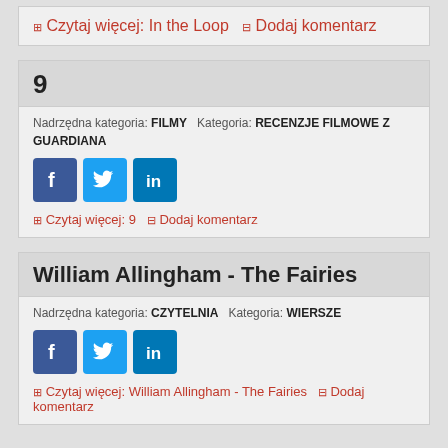⊞ Czytaj więcej: In the Loop  ⊟ Dodaj komentarz
9
Nadrzędna kategoria: FILMY   Kategoria: RECENZJE FILMOWE Z GUARDIANA
[Figure (other): Social media share buttons: Facebook, Twitter, LinkedIn]
⊞ Czytaj więcej: 9  ⊟ Dodaj komentarz
William Allingham - The Fairies
Nadrzędna kategoria: CZYTELNIA   Kategoria: WIERSZE
[Figure (other): Social media share buttons: Facebook, Twitter, LinkedIn]
⊞ Czytaj więcej: William Allingham - The Fairies  ⊟ Dodaj komentarz